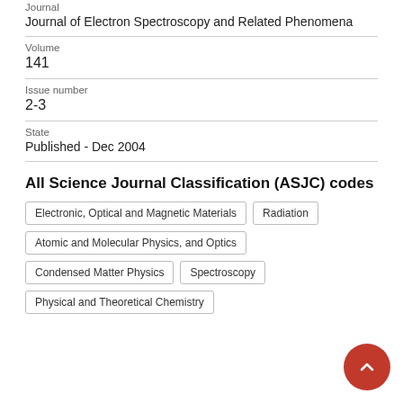Journal
Journal of Electron Spectroscopy and Related Phenomena
Volume
141
Issue number
2-3
State
Published - Dec 2004
All Science Journal Classification (ASJC) codes
Electronic, Optical and Magnetic Materials
Radiation
Atomic and Molecular Physics, and Optics
Condensed Matter Physics
Spectroscopy
Physical and Theoretical Chemistry